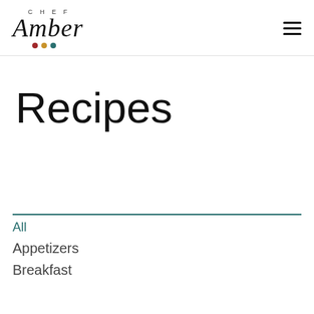CHEF Amber
Recipes
All
Appetizers
Breakfast